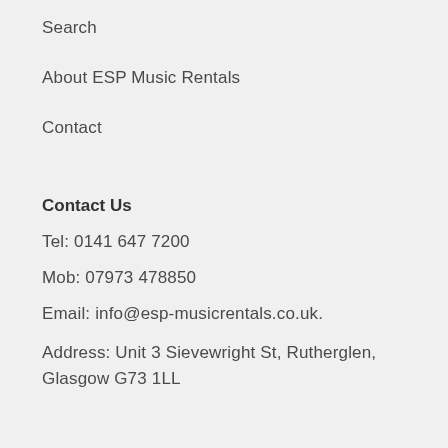Search
About ESP Music Rentals
Contact
Contact Us
Tel: 0141 647 7200
Mob: 07973 478850
Email: info@esp-musicrentals.co.uk.
Address: Unit 3 Sievewright St, Rutherglen, Glasgow G73 1LL